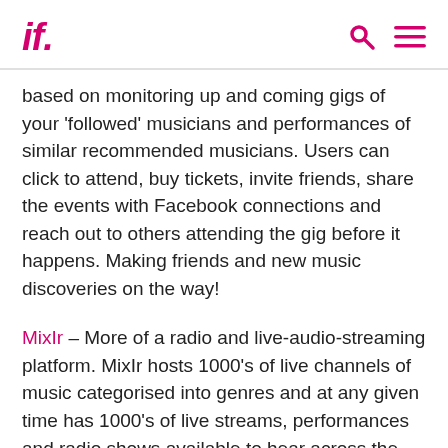if.
based on monitoring up and coming gigs of your 'followed' musicians and performances of similar recommended musicians. Users can click to attend, buy tickets, invite friends, share the events with Facebook connections and reach out to others attending the gig before it happens. Making friends and new music discoveries on the way!
MixIr – More of a radio and live-audio-streaming platform. MixIr hosts 1000's of live channels of music categorised into genres and at any given time has 1000's of live streams, performances and radio shows available to hear across the world. Users can interact with each stream